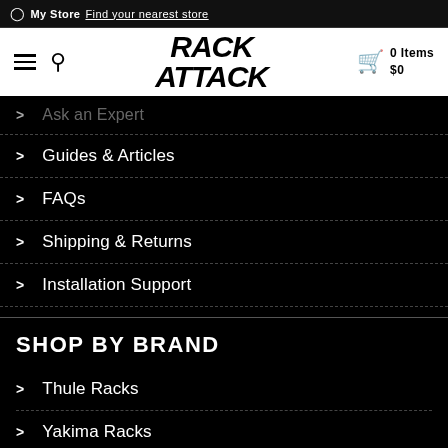📍 My Store  Find your nearest store
[Figure (logo): Rack Attack logo - bold italic text]
> Ask an Expert
> Guides & Articles
> FAQs
> Shipping & Returns
> Installation Support
SHOP BY BRAND
> Thule Racks
> Yakima Racks